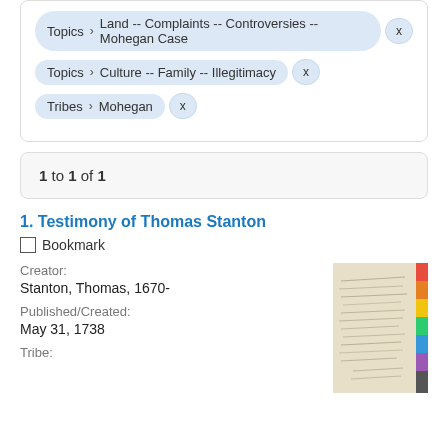Topics > Land -- Complaints -- Controversies -- Mohegan Case  x
Topics > Culture -- Family -- Illegitimacy  x
Tribes > Mohegan  x
1 to 1 of 1
1. Testimony of Thomas Stanton
Bookmark
Creator:
Stanton, Thomas, 1670-
Published/Created:
May 31, 1738
Tribe:
[Figure (photo): Thumbnail image of a handwritten manuscript page with color calibration strip on the right side]